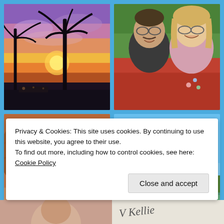[Figure (photo): Sunset scene with palm tree silhouettes against purple and orange sky]
[Figure (photo): Couple selfie, man with mustache and glasses in dark shirt, woman with blonde hair and glasses, seated on red bench]
[Figure (photo): Couple posing among large red rock formations, woman in pink top and sunglasses, man with camera]
[Figure (photo): Blue sky with white clouds and green trees at bottom]
Privacy & Cookies: This site uses cookies. By continuing to use this website, you agree to their use.
To find out more, including how to control cookies, see here: Cookie Policy
Close and accept
[Figure (photo): Bottom left partial thumbnail - person's face]
[Figure (photo): Bottom right partial thumbnail - handwritten text partially visible]